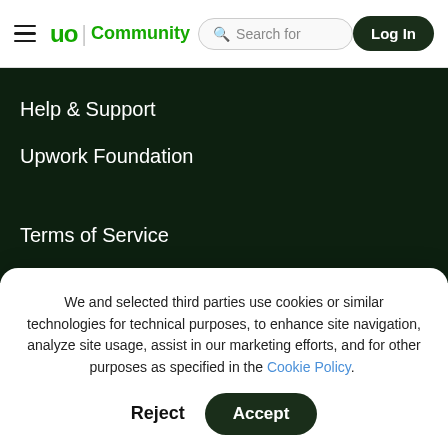Upwork Community | Search for | Log In
Help & Support
Upwork Foundation
Terms of Service
Privacy Policy
Accessibility
We and selected third parties use cookies or similar technologies for technical purposes, to enhance site navigation, analyze site usage, assist in our marketing efforts, and for other purposes as specified in the Cookie Policy.
Accept
Reject